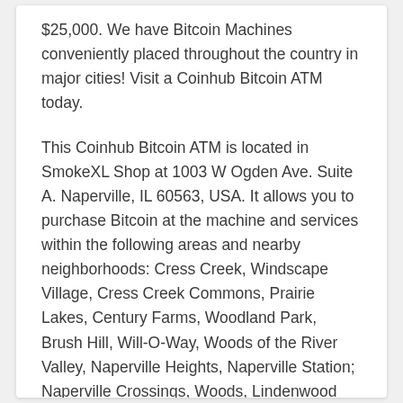$25,000. We have Bitcoin Machines conveniently placed throughout the country in major cities! Visit a Coinhub Bitcoin ATM today.
This Coinhub Bitcoin ATM is located in SmokeXL Shop at 1003 W Ogden Ave. Suite A. Naperville, IL 60563, USA. It allows you to purchase Bitcoin at the machine and services within the following areas and nearby neighborhoods: Cress Creek, Windscape Village, Cress Creek Commons, Prairie Lakes, Century Farms, Woodland Park, Brush Hill, Will-O-Way, Woods of the River Valley, Naperville Heights, Naperville Station; Naperville Crossings, Woods, Lindenwood Acret; Maple Brook East; Maple Brook East, Bonnema Woods, Lindenwood Acres, Walnut Woods, Caroline Woods, Walnut Woods, Farmington Estates